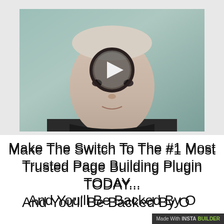[Figure (screenshot): Video thumbnail showing a person's face with a play button overlay circle in the center, set against a light grayish-green background]
Make The Switch To The #1 Most Trusted Page Building Plugin TODAY... And You'll Be Backed By Our "Rock
[Figure (logo): Made With INSTABUILDER badge in bottom right corner]